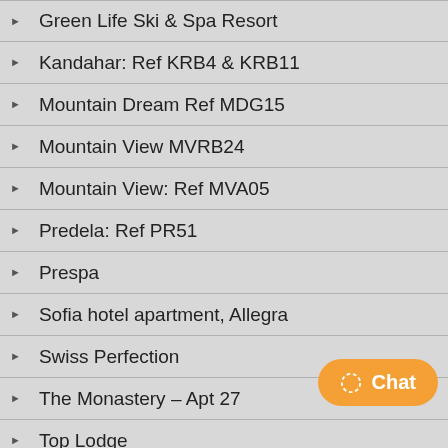Green Life Ski & Spa Resort
Kandahar: Ref KRB4 & KRB11
Mountain Dream Ref MDG15
Mountain View MVRB24
Mountain View: Ref MVA05
Predela: Ref PR51
Prespa
Sofia hotel apartment, Allegra
Swiss Perfection
The Monastery – Apt 27
Top Lodge
Mountain Residence Apartment MR33
Video
Gallery
You Say